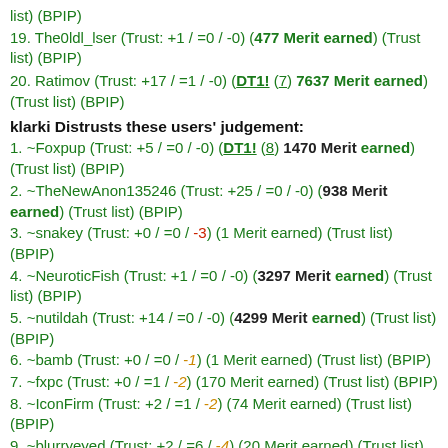list) (BPIP)
19. The0ldl_lser (Trust: +1 / =0 / -0) (477 Merit earned) (Trust list) (BPIP)
20. Ratimov (Trust: +17 / =1 / -0) (DT1! (7) 7637 Merit earned) (Trust list) (BPIP)
klarki Distrusts these users' judgement:
1. ~Foxpup (Trust: +5 / =0 / -0) (DT1! (8) 1470 Merit earned) (Trust list) (BPIP)
2. ~TheNewAnon135246 (Trust: +25 / =0 / -0) (938 Merit earned) (Trust list) (BPIP)
3. ~snakey (Trust: +0 / =0 / -3) (1 Merit earned) (Trust list) (BPIP)
4. ~NeuroticFish (Trust: +1 / =0 / -0) (3297 Merit earned) (Trust list) (BPIP)
5. ~nutildah (Trust: +14 / =0 / -0) (4299 Merit earned) (Trust list) (BPIP)
6. ~bamb (Trust: +0 / =0 / -1) (1 Merit earned) (Trust list) (BPIP)
7. ~fxpc (Trust: +0 / =1 / -2) (170 Merit earned) (Trust list) (BPIP)
8. ~IconFirm (Trust: +2 / =1 / -2) (74 Merit earned) (Trust list) (BPIP)
9. ~blurryeyed (Trust: +2 / =6 / -4) (20 Merit earned) (Trust list) (BPIP)
10. ~endlasuresh (Trust: +0 / =0 / -2) (3 Merit earned) (Trust list) (BPIP)
11. ~nullius (Trust: +6 / =4 / -3) (2461 Merit earned) (Trust list) (BPIP)